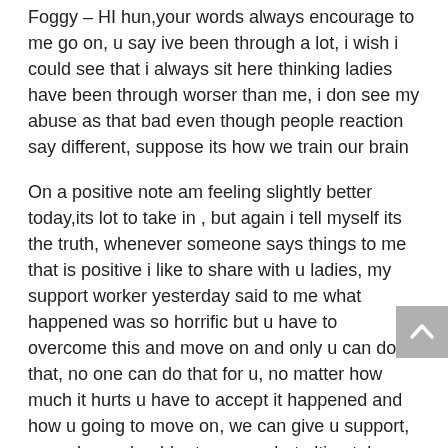Foggy – HI hun,your words always encourage to me go on, u say ive been through a lot, i wish i could see that i always sit here thinking ladies have been through worser than me, i don see my abuse as that bad even though people reaction say different, suppose its how we train our brain
On a positive note am feeling slightly better today,its lot to take in , but again i tell myself its the truth, whenever someone says things to me that is positive i like to share with u ladies, my support worker yesterday said to me what happened was so horrific but u have to overcome this and move on and only u can do that, no one can do that for u, no matter how much it hurts u have to accept it happened and how u going to move on, we can give u support, u can have shoulder to cry on, but ultimately u have to say im going to get over this and move on, so ladies my message is it will hurt like hell but some how we have to force ourselves to pick our selves up and move on , the same way we took that step to leave or r taking that step